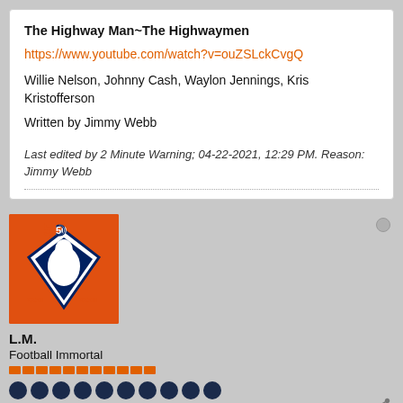The Highway Man~The Highwaymen
https://www.youtube.com/watch?v=ouZSLckCvgQ
Willie Nelson, Johnny Cash, Waylon Jennings, Kris Kristofferson
Written by Jimmy Webb
Last edited by 2 Minute Warning; 04-22-2021, 12:29 PM. Reason: Jimmy Webb
[Figure (photo): Denver Broncos Superman logo with Super Bowl 50 and XXXII XXXIII championship banners]
L.M.
Football Immortal
Join Date: Oct 2006   Posts: 11193